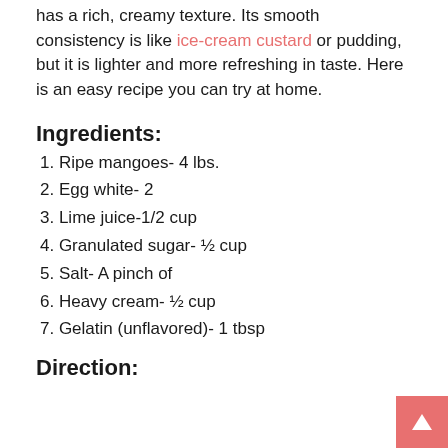has a rich, creamy texture. Its smooth consistency is like ice-cream custard or pudding, but it is lighter and more refreshing in taste. Here is an easy recipe you can try at home.
Ingredients:
1. Ripe mangoes- 4 lbs.
2. Egg white- 2
3. Lime juice-1/2 cup
4. Granulated sugar- ½ cup
5. Salt- A pinch of
6. Heavy cream- ½ cup
7. Gelatin (unflavored)- 1 tbsp
Direction: